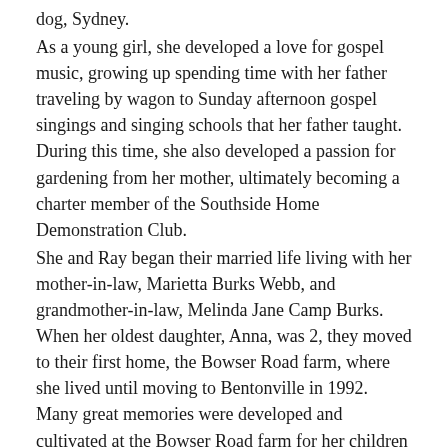dog, Sydney. As a young girl, she developed a love for gospel music, growing up spending time with her father traveling by wagon to Sunday afternoon gospel singings and singing schools that her father taught. During this time, she also developed a passion for gardening from her mother, ultimately becoming a charter member of the Southside Home Demonstration Club. She and Ray began their married life living with her mother-in-law, Marietta Burks Webb, and grandmother-in-law, Melinda Jane Camp Burks. When her oldest daughter, Anna, was 2, they moved to their first home, the Bowser Road farm, where she lived until moving to Bentonville in 1992. Many great memories were developed and cultivated at the Bowser Road farm for her children as they grew up and grandchildren who all spent many summers with her there. While in Monticello, she was a member of the Monticello Church of Christ where her husband, Ray, served many years as a an elder of the congregation. During this time...